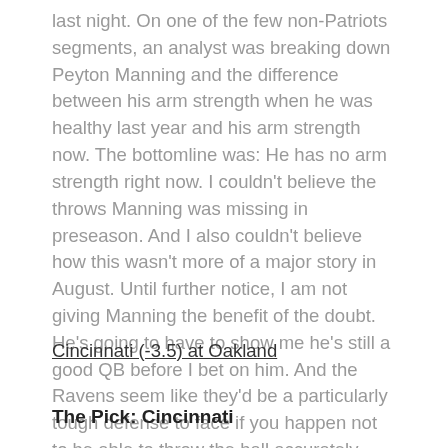last night. On one of the few non-Patriots segments, an analyst was breaking down Peyton Manning and the difference between his arm strength when he was healthy last year and his arm strength now. The bottomline was: He has no arm strength right now. I couldn't believe the throws Manning was missing in preseason. And I also couldn't believe how this wasn't more of a major story in August. Until further notice, I am not giving Manning the benefit of the doubt. He's going to have to show me he's still a good QB before I bet on him. And the Ravens seem like they'd be a particularly tough defense to face if you happen not to be able to throw the ball accurately more than five yards in the air.
Cincinnati (-3.5) at Oakland
The Pick: Cincinnati